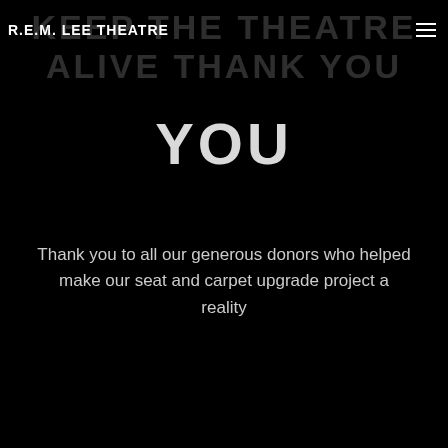R.E.M. LEE THEATRE
KEEP THE THEATRE ALIVE THANK YOU
Thank you to all our generous donors who helped make our seat and carpet upgrade project a reality